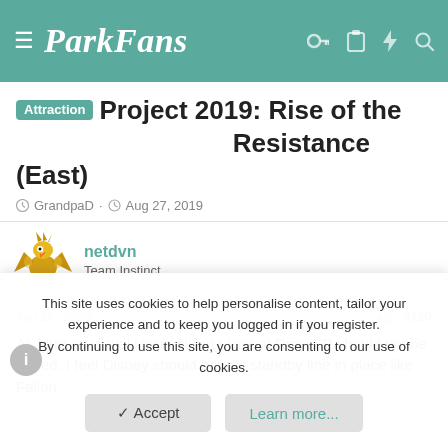ParkFans
Attraction Project 2019: Rise of the Resistance (East)
GrandpaD · Aug 27, 2019
netdvn
Team Instinct
Jan 26, 2020  #120
As long as virtual line is still in place at Rise, FP should not be added. I feel Disney should have a standby line in place like Fallon
This site uses cookies to help personalise content, tailor your experience and to keep you logged in if you register.
By continuing to use this site, you are consenting to our use of cookies.